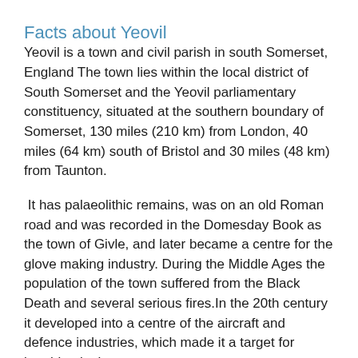Facts about Yeovil
Yeovil is a town and civil parish in south Somerset, England The town lies within the local district of South Somerset and the Yeovil parliamentary constituency, situated at the southern boundary of Somerset, 130 miles (210 km) from London, 40 miles (64 km) south of Bristol and 30 miles (48 km) from Taunton.
It has palaeolithic remains, was on an old Roman road and was recorded in the Domesday Book as the town of Givle, and later became a centre for the glove making industry. During the Middle Ages the population of the town suffered from the Black Death and several serious fires.In the 20th century it developed into a centre of the aircraft and defence industries, which made it a target for bombing in the